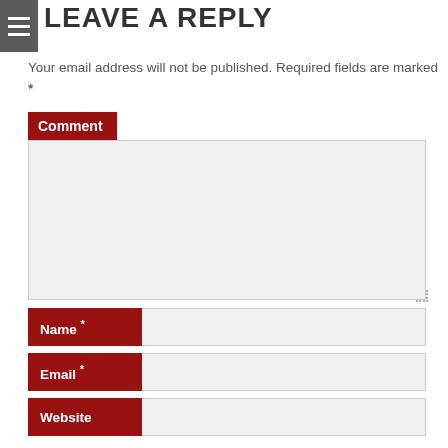LEAVE A REPLY
Your email address will not be published. Required fields are marked *
Comment
Name *
Email *
Website
Please enter an answer in digits: